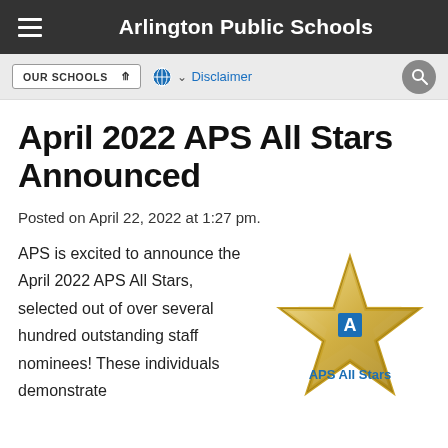Arlington Public Schools
April 2022 APS All Stars Announced
Posted on April 22, 2022 at 1:27 pm.
APS is excited to announce the April 2022 APS All Stars, selected out of over several hundred outstanding staff nominees! These individuals demonstrate
[Figure (logo): APS All Stars gold star logo with 'A' emblem and text 'APS All Stars' in blue below]